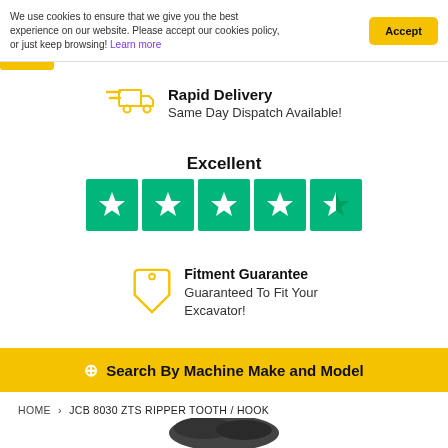We use cookies to ensure that we give you the best experience on our website. Please accept our cookies policy, or just keep browsing! Learn more
Accept
Rapid Delivery
Same Day Dispatch Available!
[Figure (illustration): Yellow outline truck/delivery icon]
Excellent
[Figure (illustration): Trustpilot five green star rating boxes with white stars]
[Figure (illustration): Yellow outline price tag icon]
Fitment Guarantee
Guaranteed To Fit Your Excavator!
⊕ Search By Machine Make and Model
HOME › JCB 8030 ZTS RIPPER TOOTH / HOOK
[Figure (photo): Partial view of black excavator ripper tooth/hook product]